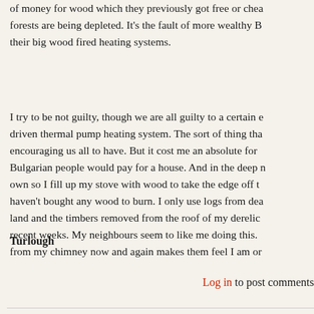of money for wood which they previously got free or cheaply as the forests are being depleted. It's the fault of more wealthy B their big wood fired heating systems.
I try to be not guilty, though we are all guilty to a certain e driven thermal pump heating system. The sort of thing tha encouraging us all to have. But it cost me an absolute for Bulgarian people would pay for a house. And in the deep n own so I fill up my stove with wood to take the edge off t haven't bought any wood to burn. I only use logs from dea land and the timbers removed from the roof of my derelic recent weeks. My neighbours seem to like me doing this. from my chimney now and again makes them feel I am or
Turlough
Log in to post comments